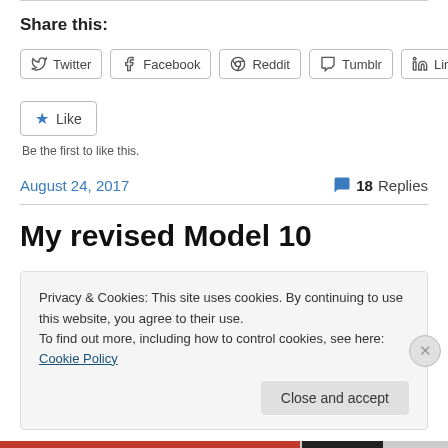Share this:
Twitter Facebook Reddit Tumblr LinkedIn
Like
Be the first to like this.
August 24, 2017
18 Replies
My revised Model 10
Privacy & Cookies: This site uses cookies. By continuing to use this website, you agree to their use.
To find out more, including how to control cookies, see here: Cookie Policy
Close and accept